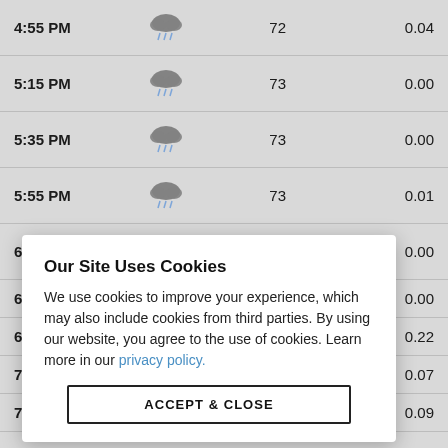| Time | Condition | Temp | Precip |
| --- | --- | --- | --- |
| 4:55 PM | [rain icon] | 72 | 0.04 |
| 5:15 PM | [rain icon] | 73 | 0.00 |
| 5:35 PM | [rain icon] | 73 | 0.00 |
| 5:55 PM | [rain icon] | 73 | 0.01 |
| 6:15 PM | [partly cloudy icon] | 73 | 0.00 |
| 6:35 PM | [icon] |  | 0.00 |
| 6:55 PM | [icon] |  | 0.22 |
| 7:15 PM | [icon] |  | 0.07 |
| 7:35 PM | [icon] |  | 0.09 |
[Figure (screenshot): Cookie consent modal overlay with title 'Our Site Uses Cookies', body text about cookie usage and third parties, a 'privacy policy' link, and an 'ACCEPT & CLOSE' button.]